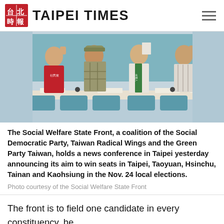TAIPEI TIMES
[Figure (photo): Four people standing behind a conference table raising fists, one wearing a red Social Democratic Party vest, another in a green party sash, in a meeting room with teal chairs]
The Social Welfare State Front, a coalition of the Social Democratic Party, Taiwan Radical Wings and the Green Party Taiwan, holds a news conference in Taipei yesterday announcing its aim to win seats in Taipei, Taoyuan, Hsinchu, Tainan and Kaohsiung in the Nov. 24 local elections.
Photo courtesy of the Social Welfare State Front
The front is to field one candidate in every constituency, he